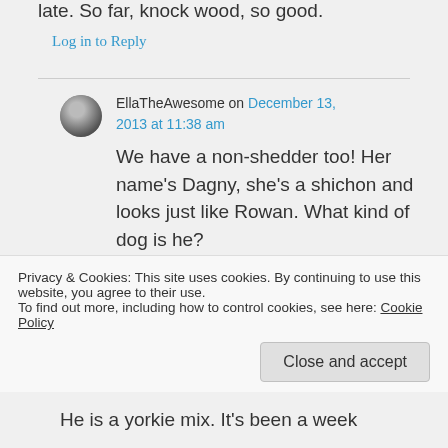late. So far, knock wood, so good.
Log in to Reply
EllaTheAwesome on December 13, 2013 at 11:38 am
We have a non-shedder too! Her name's Dagny, she's a shichon and looks just like Rowan. What kind of dog is he?
Privacy & Cookies: This site uses cookies. By continuing to use this website, you agree to their use.
To find out more, including how to control cookies, see here: Cookie Policy
Close and accept
He is a yorkie mix. It's been a week